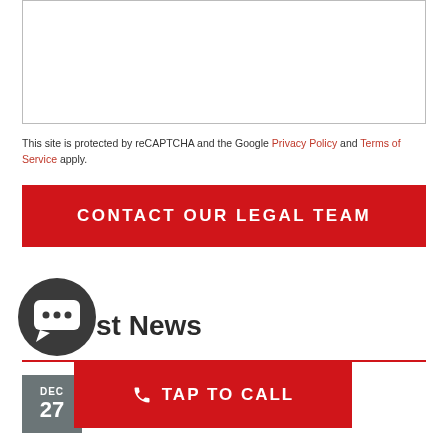[Figure (other): Form input area - bordered white box (partial form at top of page)]
This site is protected by reCAPTCHA and the Google Privacy Policy and Terms of Service apply.
CONTACT OUR LEGAL TEAM
st News
Conditioners Recalled Due to Fire Hazard
TAP TO CALL